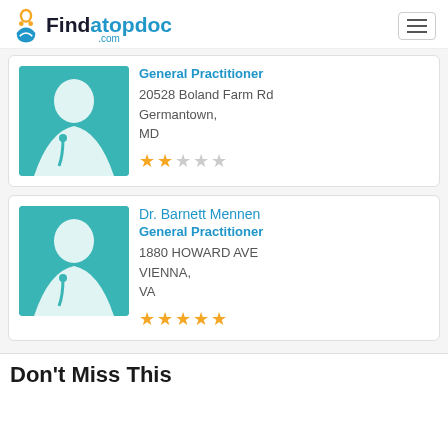Findatopdoc.com
General Practitioner
20528 Boland Farm Rd
Germantown,
MD
★★☆☆☆
Dr. Barnett Mennen
General Practitioner
1880 HOWARD AVE
VIENNA,
VA
★★★★★
Don't Miss This